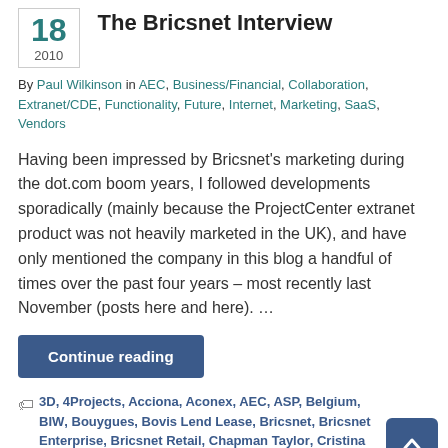The Bricsnet Interview
18
2010
By Paul Wilkinson in AEC, Business/Financial, Collaboration, Extranet/CDE, Functionality, Future, Internet, Marketing, SaaS, Vendors
Having been impressed by Bricsnet's marketing during the dot.com boom years, I followed developments sporadically (mainly because the ProjectCenter extranet product was not heavily marketed in the UK), and have only mentioned the company in this blog a handful of times over the past four years – most recently last November (posts here and here). …
Continue reading
3D, 4Projects, Acciona, Aconex, AEC, ASP, Belgium, BIW, Bouygues, Bovis Lend Lease, Bricsnet, Bricsnet Enterprise, Bricsnet Retail, Chapman Taylor, Cristina Niculescu, dot.com bust, EDF, Endesa, external data storage,